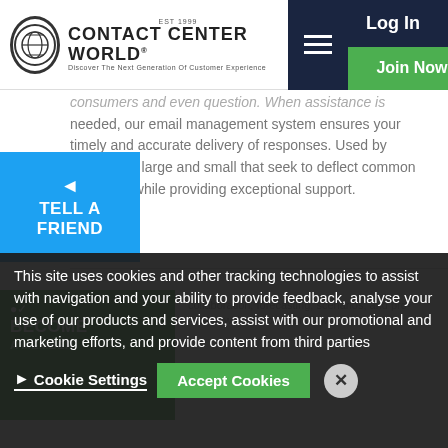Contact Center World — Navigation bar with logo, hamburger menu, Log In and Join Now buttons
consumers and even question. When assistance is needed, our email management system ensures your timely and accurate delivery of responses. Used by companies large and small that seek to deflect common questions while providing exceptional support.
[Figure (other): TELL A FRIEND share button — blue rectangle with share icon and text]
BECOME
This site uses cookies and other tracking technologies to assist with navigation and your ability to provide feedback, analyse your use of our products and services, assist with our promotional and marketing efforts, and provide content from third parties
Cookie Settings  Accept Cookies  X